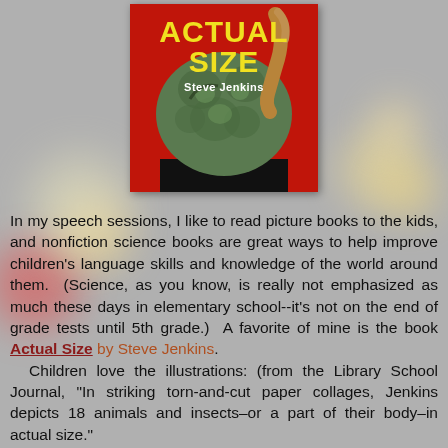[Figure (illustration): Book cover of 'Actual Size' by Steve Jenkins showing title in large yellow bold text on a red background with a close-up illustration of a green textured frog head]
In my speech sessions, I like to read picture books to the kids, and nonfiction science books are great ways to help improve children's language skills and knowledge of the world around them.  (Science, as you know, is really not emphasized as much these days in elementary school--it's not on the end of grade tests until 5th grade.)  A favorite of mine is the book Actual Size by Steve Jenkins.
  Children love the illustrations: (from the Library School Journal, "In striking torn-and-cut paper collages, Jenkins depicts 18 animals and insects–or a part of their body–in actual size."